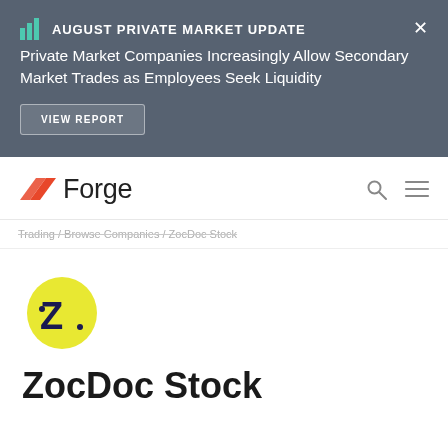AUGUST PRIVATE MARKET UPDATE
Private Market Companies Increasingly Allow Secondary Market Trades as Employees Seek Liquidity
VIEW REPORT
[Figure (logo): Forge logo with orange arrow icon and wordmark]
Trading / Browse Companies / ZocDoc Stock
[Figure (logo): ZocDoc logo - yellow circle with dark blue letter Z]
ZocDoc Stock